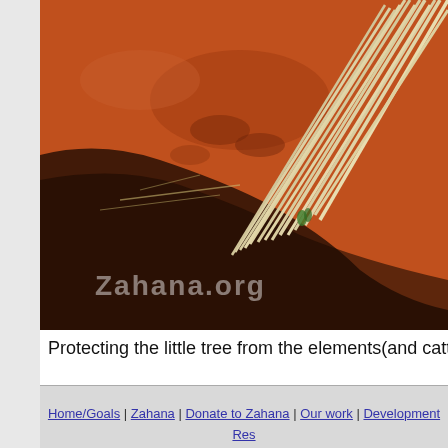[Figure (photo): Close-up photo of red African soil with a bundle of pale straw/reed stalks fanned out on dry red earth, casting a dark shadow. A small patch of green seedling is barely visible near the base of the bundle. The Zahana.org watermark is overlaid in semi-transparent white text at the bottom left.]
Protecting the little tree from the elements(and cattle) in th
Home/Goals | Zahana | Donate to Zahana | Our work | Development Res... | LINKS | Contact us: | Via email: Info | Solar Cooking | GuestB...